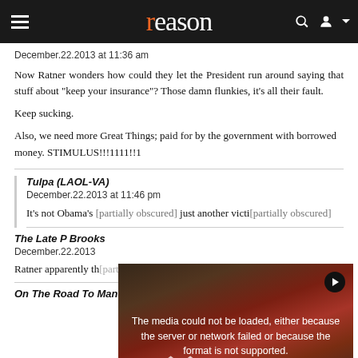reason
December.22.2013 at 11:36 am
Now Ratner wonders how could they let the President run around saying that stuff about "keep your insurance"? Those damn flunkies, it's all their fault.
Keep sucking.
Also, we need more Great Things; paid for by the government with borrowed money. STIMULUS!!!1111!!1
Tulpa (LAOL-VA)
December.22.2013 at 11:46 pm
It's not Obama's just another victi
[Figure (screenshot): Video error overlay with protest image background showing 'The media could not be loaded, either because the server or network failed or because the format is not supported.' with a play button and X close button]
The Late P Brooks
December.22.2013
Ratner apparently th
On The Road To Mandalay